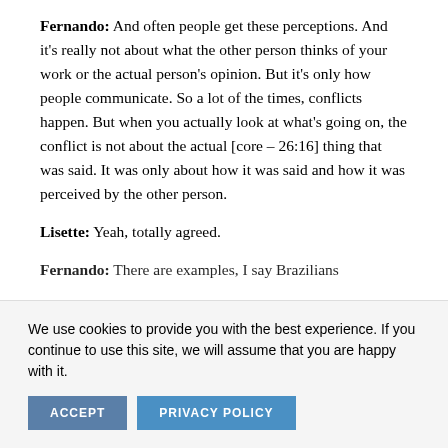Fernando: And often people get these perceptions. And it's really not about what the other person thinks of your work or the actual person's opinion. But it's only how people communicate. So a lot of the times, conflicts happen. But when you actually look at what's going on, the conflict is not about the actual [core – 26:16] thing that was said. It was only about how it was said and how it was perceived by the other person.
Lisette: Yeah, totally agreed.
Fernando: There are examples, I say Brazilians...
We use cookies to provide you with the best experience. If you continue to use this site, we will assume that you are happy with it.